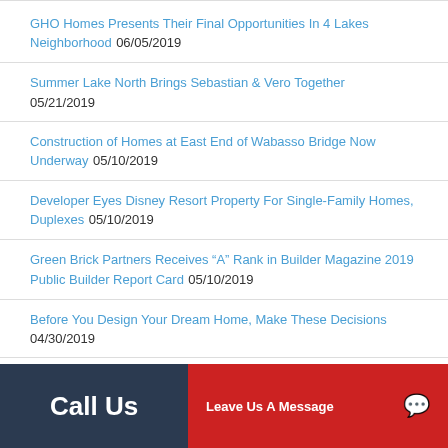GHO Homes Presents Their Final Opportunities In 4 Lakes Neighborhood 06/05/2019
Summer Lake North Brings Sebastian & Vero Together 05/21/2019
Construction of Homes at East End of Wabasso Bridge Now Underway 05/10/2019
Developer Eyes Disney Resort Property For Single-Family Homes, Duplexes 05/10/2019
Green Brick Partners Receives “A” Rank in Builder Magazine 2019 Public Builder Report Card 05/10/2019
Before You Design Your Dream Home, Make These Decisions 04/30/2019
Call Us   Email Us   Leave Us A Message